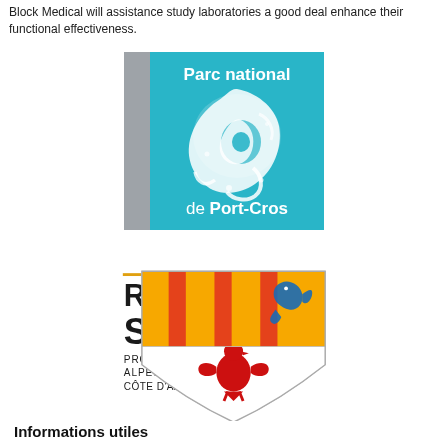Block Medical will assistance study laboratories a good deal enhance their functional effectiveness.
[Figure (logo): Parc national de Port-Cros logo — teal/cyan square with white spiral sea creature illustration, grey left strip, white text 'Parc national' at top and 'de Port-Cros' at bottom in bold.]
[Figure (logo): Région Sud Provence-Alpes-Côte d'Azur logo — bold black text 'RÉGION SUD' with smaller 'PROVENCE ALPES CÔTE D'AZUR' below, next to heraldic shield with orange/red stripes and blue dolphin on top half, red eagle on white lower half.]
Informations utiles